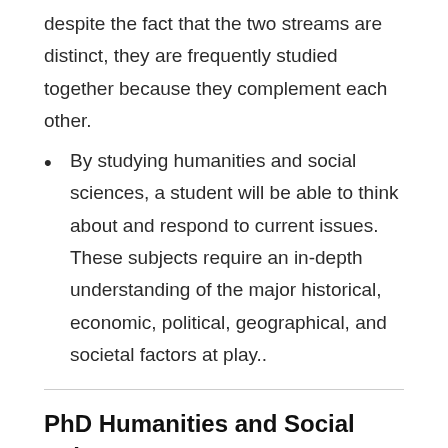despite the fact that the two streams are distinct, they are frequently studied together because they complement each other.
By studying humanities and social sciences, a student will be able to think about and respond to current issues. These subjects require an in-depth understanding of the major historical, economic, political, geographical, and societal factors at play..
PhD Humanities and Social Science: Important Documents Required